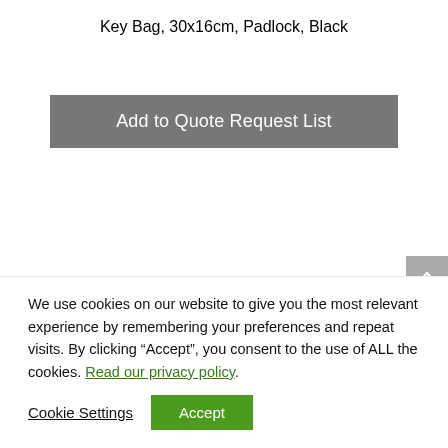Key Bag, 30x16cm, Padlock, Black
Add to Quote Request List
We use cookies on our website to give you the most relevant experience by remembering your preferences and repeat visits. By clicking “Accept”, you consent to the use of ALL the cookies. Read our privacy policy.
Cookie Settings
Accept